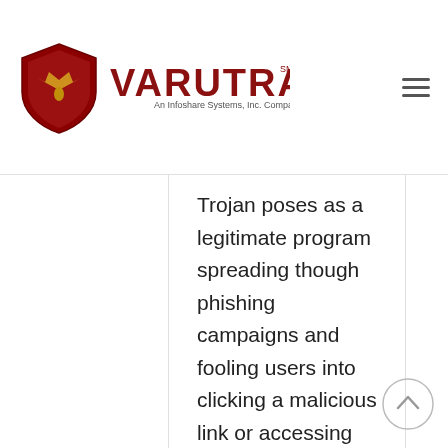VARUTRA — An Infoshare Systems, Inc. Company
Trojan poses as a legitimate program spreading though phishing campaigns and fooling users into clicking a malicious link or accessing malware on a website. Once the system is infected, the Trojan can access sensitive files, send, and receive data online and track the browsing history. To avoid this type of infection, you should keep the system up to date with the latest patches and have strong anti-